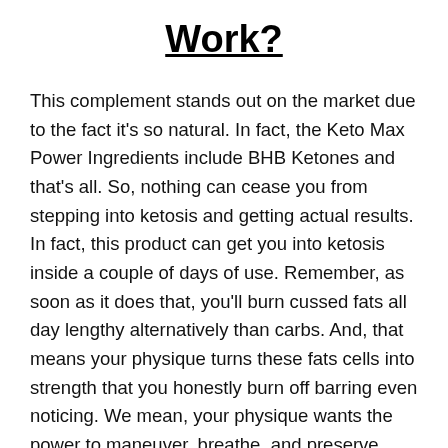Work?
This complement stands out on the market due to the fact it's so natural. In fact, the Keto Max Power Ingredients include BHB Ketones and that's all. So, nothing can cease you from stepping into ketosis and getting actual results. In fact, this product can get you into ketosis inside a couple of days of use. Remember, as soon as it does that, you'll burn cussed fats all day lengthy alternatively than carbs. And, that means your physique turns these fats cells into strength that you honestly burn off barring even noticing. We mean, your physique wants the power to maneuver, breathe, and preserve homeostasis.